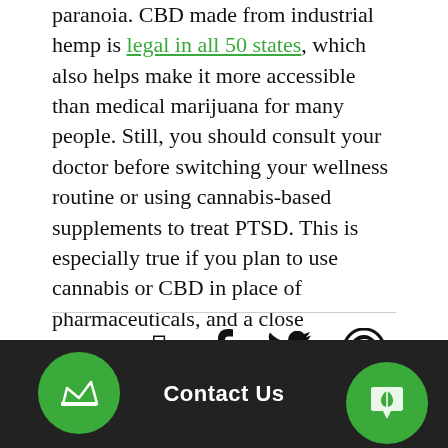paranoia. CBD made from industrial hemp is legal in all 50 states, which also helps make it more accessible than medical marijuana for many people. Still, you should consult your doctor before switching your wellness routine or using cannabis-based supplements to treat PTSD. This is especially true if you plan to use cannabis or CBD in place of pharmaceuticals, and a close relationship with your doctor could definitely impact the efficacy of your cannabinoid-based therapy.
Share:
Contact Us